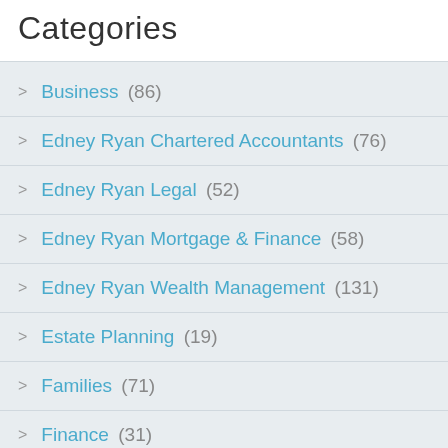Categories
Business (86)
Edney Ryan Chartered Accountants (76)
Edney Ryan Legal (52)
Edney Ryan Mortgage & Finance (58)
Edney Ryan Wealth Management (131)
Estate Planning (19)
Families (71)
Finance (31)
Home Loan (33)
Investment Properties (47)